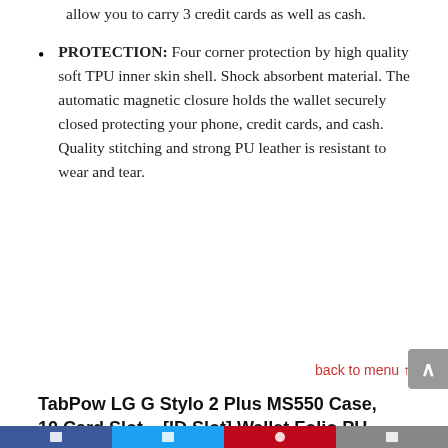allow you to carry 3 credit cards as well as cash.
PROTECTION: Four corner protection by high quality soft TPU inner skin shell. Shock absorbent material. The automatic magnetic closure holds the wallet securely closed protecting your phone, credit cards, and cash. Quality stitching and strong PU leather is resistant to wear and tear.
back to menu ↑
TabPow LG G Stylo 2 Plus MS550 Case, 10 Card Slot – [ID Slot] Wallet Folio PU Leather Case Cover with Detachable Magnetic Hard Case for LG G Stylo 2 Plus MS550 – Rose Gold